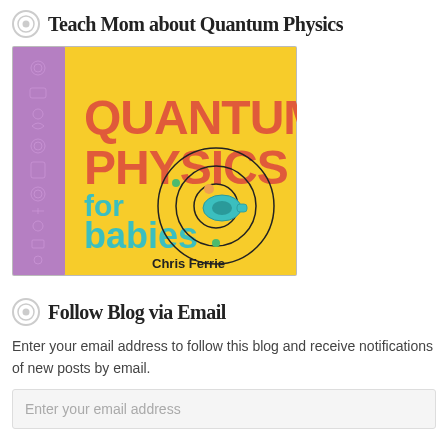Teach Mom about Quantum Physics
[Figure (illustration): Book cover of 'Quantum Physics for Babies' by Chris Ferrie. Yellow background with purple patterned left strip. Title in red/coral bold text 'QUANTUM PHYSICS', subtitle in teal 'for babies'. Black orbital circles with teal pacifier and orange dot. Author name 'Chris Ferrie' in black at bottom.]
Follow Blog via Email
Enter your email address to follow this blog and receive notifications of new posts by email.
Enter your email address